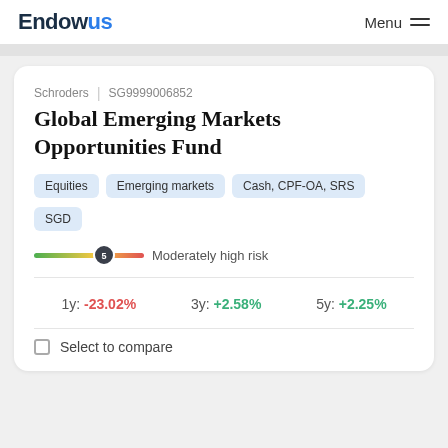Endowus | Menu
Schroders | SG9999006852
Global Emerging Markets Opportunities Fund
Equities
Emerging markets
Cash, CPF-OA, SRS
SGD
5 Moderately high risk
1y: -23.02%   3y: +2.58%   5y: +2.25%
Select to compare